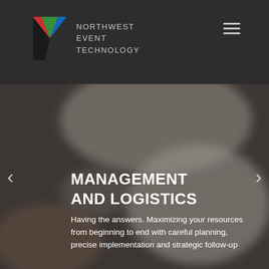NORTHWEST EVENT TECHNOLOGY
[Figure (photo): Blurred background photo of event/crowd scene used as hero image slider background]
MANAGEMENT AND LOGISTICS
Having the answers. Maximizing your resources from beginning to end with careful planning, precise implementation and strategic follow-up